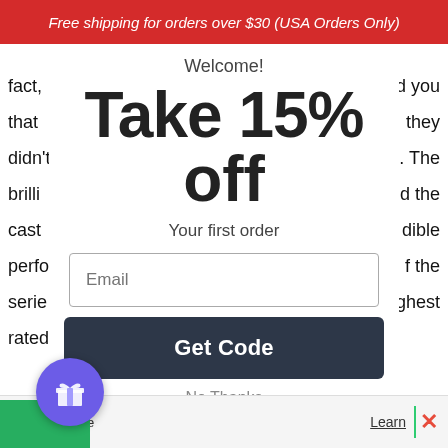Free shipping for orders over $30 (USA Orders Only)
fact,  d you
that  they
didn'  . The
brilli  d the
cast  dible
perfo  f the
serie  ghest
rated
Welcome!
Take 15% off
Your first order
Email
Get Code
No Thanks
We  Learn
[Figure (illustration): Purple circular gift/loyalty button with gift box icon, bottom left]